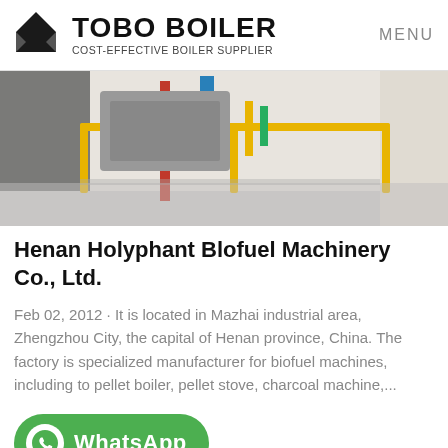TOBO BOILER COST-EFFECTIVE BOILER SUPPLIER MENU
[Figure (photo): Industrial boiler room with pipes and yellow handrails]
Henan Holyphant Blofuel Machinery Co., Ltd.
Feb 02, 2012 · It is located in Mazhai industrial area, Zhengzhou City, the capital of Henan province, China. The factory is specialized manufacturer for biofuel machines, including to pellet boiler, pellet stove, charcoal machine,...
[Figure (screenshot): WhatsApp contact button (green rounded button with WhatsApp logo)]
[Figure (photo): Bottom portion of another industrial boiler image]